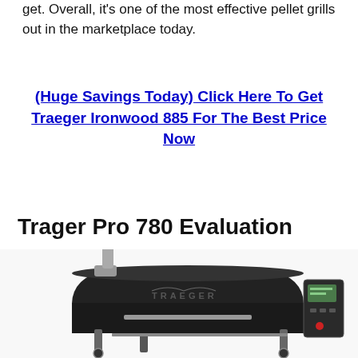get. Overall, it's one of the most effective pellet grills out in the marketplace today.
(Huge Savings Today) Click Here To Get Traeger Ironwood 885 For The Best Price Now
Trager Pro 780 Evaluation
[Figure (photo): Photo of a Traeger Pro 780 pellet grill, black barrel smoker with chimney stack and digital control panel on the right side]